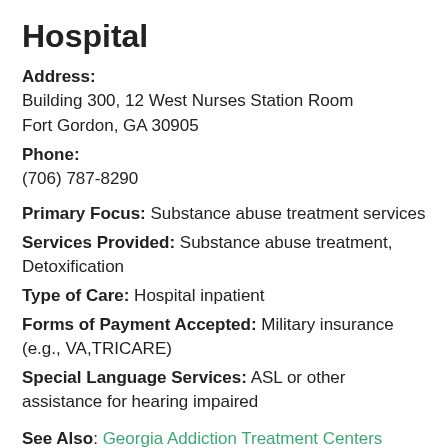Hospital
Address:
Building 300, 12 West Nurses Station Room
Fort Gordon, GA 30905
Phone:
(706) 787-8290
Primary Focus: Substance abuse treatment services
Services Provided: Substance abuse treatment, Detoxification
Type of Care: Hospital inpatient
Forms of Payment Accepted: Military insurance (e.g., VA,TRICARE)
Special Language Services: ASL or other assistance for hearing impaired
See Also: Georgia Addiction Treatment Centers